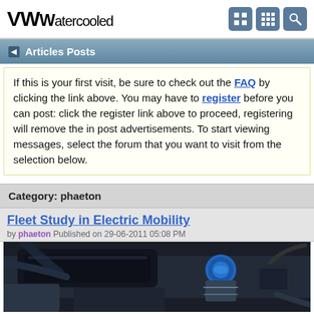VWWatercooled
Articles Posts
If this is your first visit, be sure to check out the FAQ by clicking the link above. You may have to register before you can post: click the register link above to proceed, registering will remove the in post advertisements. To start viewing messages, select the forum that you want to visit from the selection below.
Category: phaeton
Fleet Study in Electric Mobility
by phaeton Published on 29-06-2011 05:08 PM
[Figure (photo): Car engine bay photo showing engine components including a blue reservoir cap]